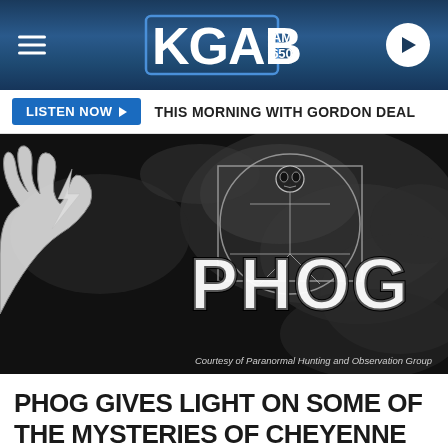KGAB AM 650
LISTEN NOW ▶  THIS MORNING WITH GORDON DEAL
[Figure (illustration): Dark paranormal-themed illustration showing a skeletal Vitruvian Man figure inside a circle/square frame with the word PHOG in large stylized letters, with ghostly smoke and a hand holding lightning on the left. Caption: Courtesy of Paranormal Hunting and Observation Group]
Courtesy of Paranormal Hunting and Observation Group
PHOG GIVES LIGHT ON SOME OF THE MYSTERIES OF CHEYENNE